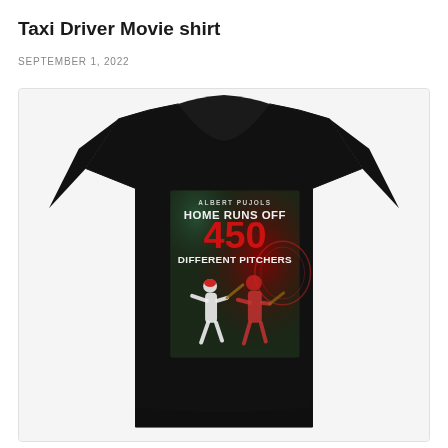Taxi Driver Movie shirt
SEPTEMBER 1, 2022
[Figure (photo): A black t-shirt with a graphic print on the chest. The graphic shows Albert Pujols in St. Louis Cardinals uniform with text reading 'ALBERT PUJOLS HOME RUNS OFF 450 DIFFERENT PITCHERS'. The shirt is displayed on a white background with a light gray card border.]